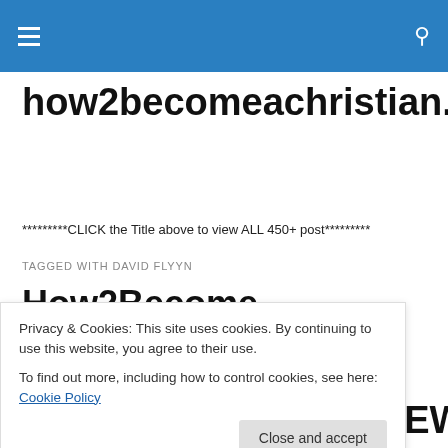Navigation header bar with hamburger menu and search icon
how2becomeachristian.wordpress.com
*********CLICK the Title above to view ALL 450+ post*********
TAGGED WITH DAVID FLYYN
How2Become AChristian.Info
Privacy & Cookies: This site uses cookies. By continuing to use this website, you agree to their use.
To find out more, including how to control cookies, see here: Cookie Policy
Close and accept
AncientofDays.net, NEW